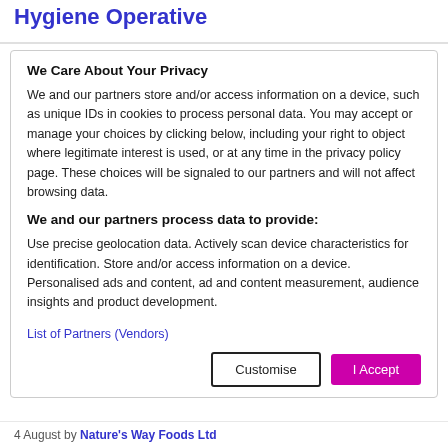Hygiene Operative
We Care About Your Privacy
We and our partners store and/or access information on a device, such as unique IDs in cookies to process personal data. You may accept or manage your choices by clicking below, including your right to object where legitimate interest is used, or at any time in the privacy policy page. These choices will be signaled to our partners and will not affect browsing data.
We and our partners process data to provide:
Use precise geolocation data. Actively scan device characteristics for identification. Store and/or access information on a device. Personalised ads and content, ad and content measurement, audience insights and product development.
List of Partners (Vendors)
4 August by Nature's Way Foods Ltd